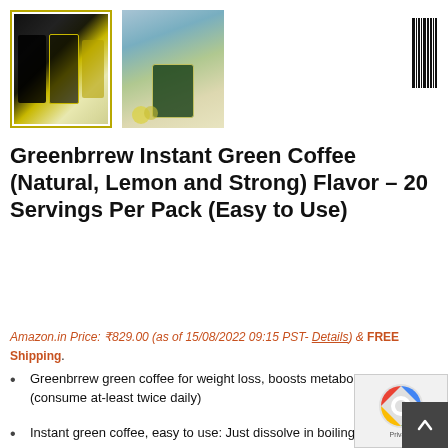[Figure (photo): Two product image thumbnails for Greenbrrew Instant Green Coffee. First thumbnail (selected, with yellow border) shows product packages on dark/yellow background. Second thumbnail shows product package in outdoor setting with lemon slices.]
Greenbrrew Instant Green Coffee (Natural, Lemon and Strong) Flavor – 20 Servings Per Pack (Easy to Use)
Amazon.in Price: ₹829.00 (as of 15/08/2022 09:15 PST- Details) & FREE Shipping.
Greenbrrew green coffee for weight loss, boosts metabolism (consume at-least twice daily)
Instant green coffee, easy to use: Just dissolve in boiling...